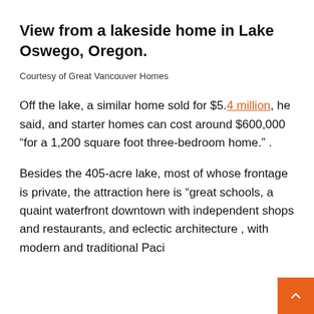View from a lakeside home in Lake Oswego, Oregon.
Courtesy of Great Vancouver Homes
Off the lake, a similar home sold for $5.4 million, he said, and starter homes can cost around $600,000 “for a 1,200 square foot three-bedroom home.” .
Besides the 405-acre lake, most of whose frontage is private, the attraction here is “great schools, a quaint waterfront downtown with independent shops and restaurants, and eclectic architecture , with modern and traditional Paci…